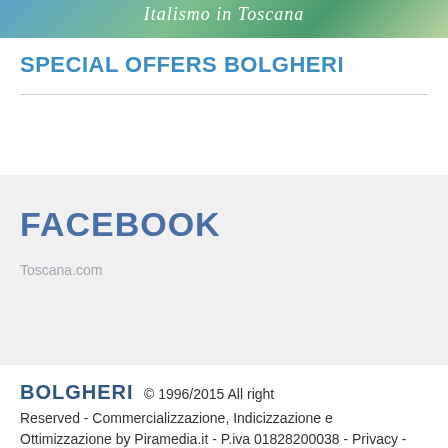[Figure (photo): Partial banner image showing scenic Tuscany landscape with text overlay reading 'Italismo in Toscana']
SPECIAL OFFERS BOLGHERI
FACEBOOK
Toscana.com
BOLGHERI © 1996/2015 All right Reserved - Commercializzazione, Indicizzazione e Ottimizzazione by Piramedia.it - P.iva 01828200038 - Privacy - Sitemap